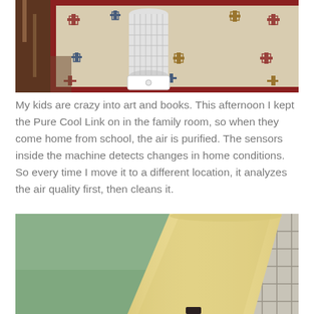[Figure (photo): Air purifier (Dyson Pure Cool Link) sitting on a decorative rug with floral/geometric patterns in a home setting. The rug has red, navy, and gold colors on a cream background.]
My kids are crazy into art and books. This afternoon I kept the Pure Cool Link on in the family room, so when they come home from school, the air is purified. The sensors inside the machine detects changes in home conditions. So every time I move it to a different location, it analyzes the air quality first, then cleans it.
[Figure (photo): Interior home photo showing a lamp with a cream/yellow shade on a dark base, against a sage green wall, with a white grid window visible on the right side.]